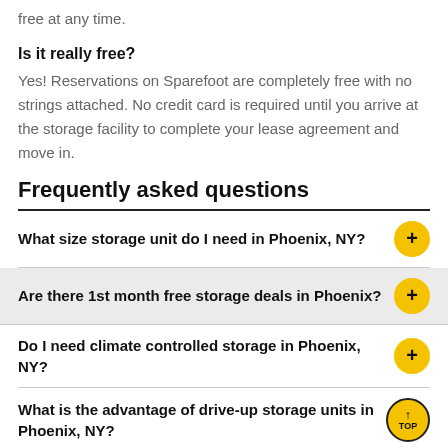free at any time.
Is it really free?
Yes! Reservations on Sparefoot are completely free with no strings attached. No credit card is required until you arrive at the storage facility to complete your lease agreement and move in.
Frequently asked questions
What size storage unit do I need in Phoenix, NY?
Are there 1st month free storage deals in Phoenix?
Do I need climate controlled storage in Phoenix, NY?
What is the advantage of drive-up storage units in Phoenix, NY?